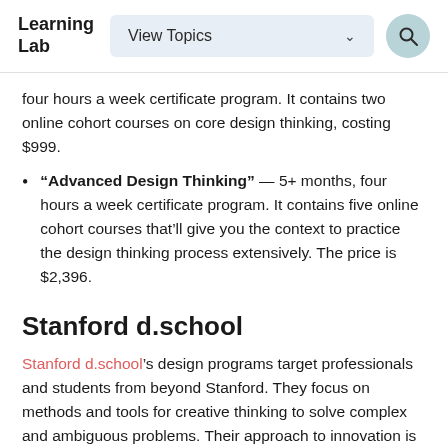Learning Lab | View Topics | Search
four hours a week certificate program. It contains two online cohort courses on core design thinking, costing $999.
"Advanced Design Thinking" — 5+ months, four hours a week certificate program. It contains five online cohort courses that’ll give you the context to practice the design thinking process extensively. The price is $2,396.
Stanford d.school
Stanford d.school's design programs target professionals and students from beyond Stanford. They focus on methods and tools for creative thinking to solve complex and ambiguous problems. Their approach to innovation is